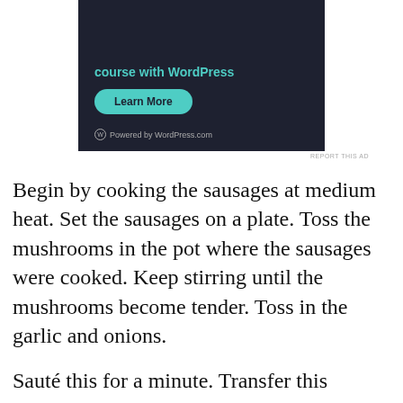[Figure (screenshot): Dark-themed WordPress advertisement banner with teal 'Learn More' button and 'Powered by WordPress.com' logo at bottom]
REPORT THIS AD
Begin by cooking the sausages at medium heat. Set the sausages on a plate. Toss the mushrooms in the pot where the sausages were cooked. Keep stirring until the mushrooms become tender. Toss in the garlic and onions.
Sauté this for a minute. Transfer this mushroom soup recipe mix in a bowl. Put butter to the pot, add the flour and stir until the